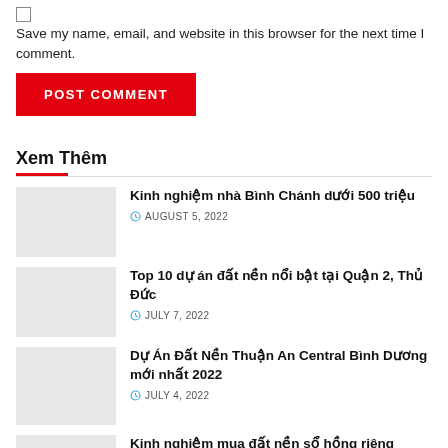Save my name, email, and website in this browser for the next time I comment.
POST COMMENT
Xem Thêm
Kinh nghiệm nhà Bình Chánh dưới 500 triệu
AUGUST 5, 2022
Top 10 dự án đất nền nổi bật tại Quận 2, Thủ Đức
JULY 7, 2022
Dự Án Đất Nền Thuận An Central Bình Dương mới nhất 2022
JULY 4, 2022
Kinh nghiệm mua đất nền sổ hồng riêng chính chủ